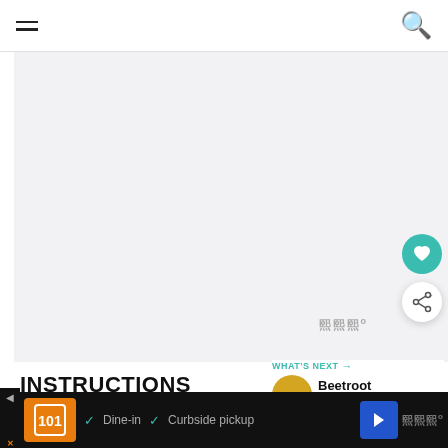Navigation bar with hamburger menu and search icon
[Figure (photo): Large image area placeholder with light grey background and a watermark icon]
INSTRUCTIONS
WHAT'S NEXT → Beetroot Marble Cake
1  Pre heat oven to 180C / 160C
Ad bar: Dine-in  Curbside pickup